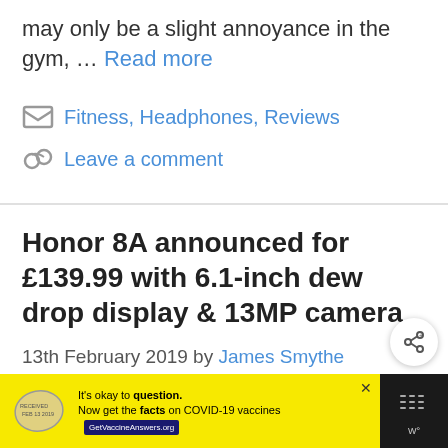may only be a slight annoyance in the gym, … Read more
Fitness, Headphones, Reviews
Leave a comment
Honor 8A announced for £139.99 with 6.1-inch dew drop display & 13MP camera
13th February 2019 by James Smythe
[Figure (screenshot): Share button icon (circular button with share symbol)]
[Figure (infographic): Advertisement banner: black background with yellow ad content. Logo stamp on left, text 'It's okay to question. Now get the facts on COVID-19 vaccines GetVaccineAnswers.org'. Close button top right. Weather widget on far right.]